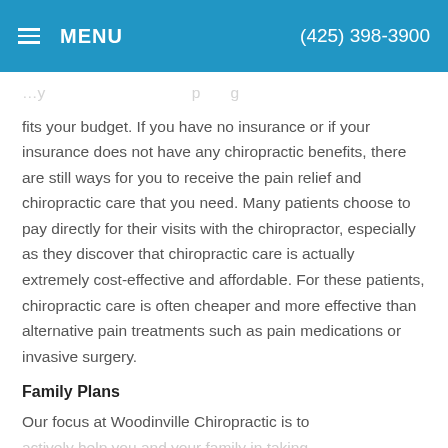MENU  (425) 398-3900
fits your budget. If you have no insurance or if your insurance does not have any chiropractic benefits, there are still ways for you to receive the pain relief and chiropractic care that you need. Many patients choose to pay directly for their visits with the chiropractor, especially as they discover that chiropractic care is actually extremely cost-effective and affordable. For these patients, chiropractic care is often cheaper and more effective than alternative pain treatments such as pain medications or invasive surgery.
Family Plans
Our focus at Woodinville Chiropractic is to actively help you and your family in taking